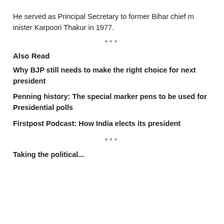He served as Principal Secretary to former Bihar chief minister Karpoori Thakur in 1977.
***
Also Read
Why BJP still needs to make the right choice for next president
Penning history: The special marker pens to be used for Presidential polls
Firstpost Podcast: How India elects its president
***
Taking the political...